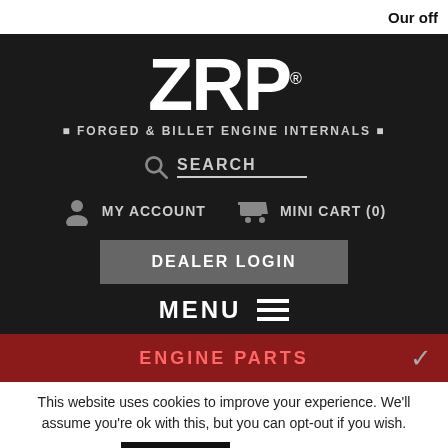Our off
[Figure (logo): ZRP logo with tagline: FORGED & BILLET ENGINE INTERNALS]
SEARCH
MY ACCOUNT    MINI CART (0)
DEALER LOGIN
MENU ≡
ENGINE PARTS
This website uses cookies to improve your experience. We'll assume you're ok with this, but you can opt-out if you wish.
Accept    Read More